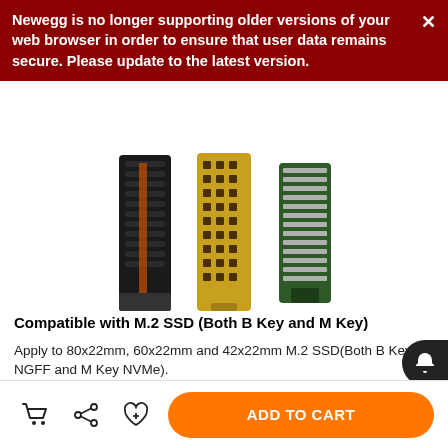Newegg is no longer supporting older versions of your web browser in order to ensure that user data remains secure. Please update to the latest version.
[Figure (photo): Three M.2 SSD heatsinks/coolers shown vertically: a black one on the left, a gold perforated one in the center, and a green/silver one on the right.]
Compatible with M.2 SSD (Both B Key and M Key)
Apply to 80x22mm, 60x22mm and 42x22mm M.2 SSD(Both B Key NGFF and M Key NVMe).
Such as Samsung PM961, 960EVO, 970 EVO /950Pro/ 960Evo/ XP941/ PM951/ PM961/ SM951/ SM962, WD Black NVMe SSD; and Samsung 860 EVO, WD SATA M.2 SSD.